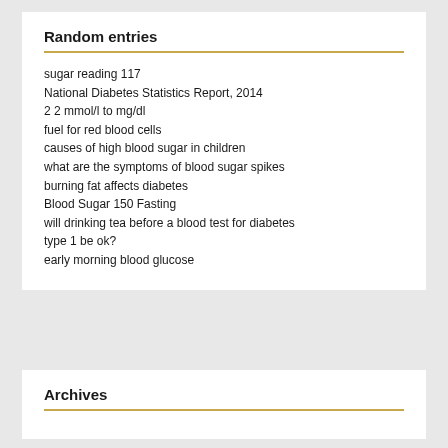Random entries
sugar reading 117
National Diabetes Statistics Report, 2014
2 2 mmol/l to mg/dl
fuel for red blood cells
causes of high blood sugar in children
what are the symptoms of blood sugar spikes
burning fat affects diabetes
Blood Sugar 150 Fasting
will drinking tea before a blood test for diabetes type 1 be ok?
early morning blood glucose
Archives